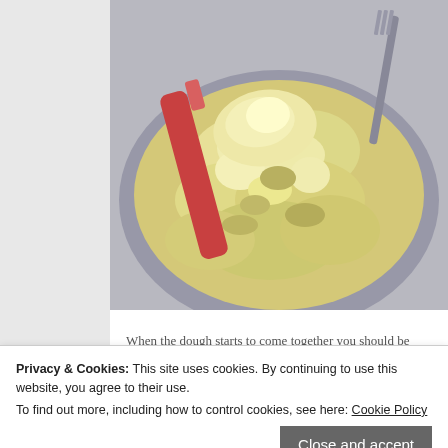[Figure (photo): Close-up photo of cookie or pastry dough in a bowl, showing a crumbly, rough texture in yellow-cream tones. A red spatula or scraper is visible on the left side, and a fork or utensil is on the right.]
When the dough starts to come together you should be able to pick up a piece and
Privacy & Cookies: This site uses cookies. By continuing to use this website, you agree to their use.
To find out more, including how to control cookies, see here: Cookie Policy
Advertisements
[Figure (screenshot): Advertisement banner: Launch your online course with WordPress]